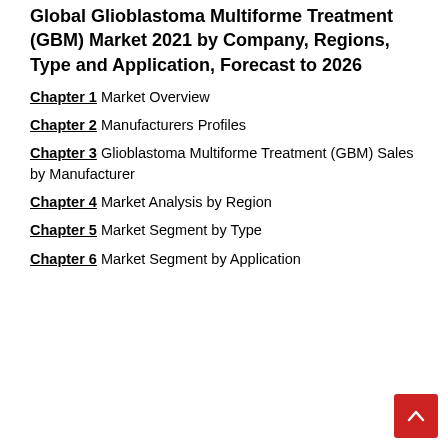Global Glioblastoma Multiforme Treatment (GBM) Market 2021 by Company, Regions, Type and Application, Forecast to 2026
Chapter 1 Market Overview
Chapter 2 Manufacturers Profiles
Chapter 3 Glioblastoma Multiforme Treatment (GBM) Sales by Manufacturer
Chapter 4 Market Analysis by Region
Chapter 5 Market Segment by Type
Chapter 6 Market Segment by Application